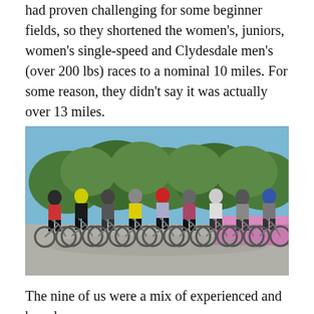had proven challenging for some beginner fields, so they shortened the women's, juniors, women's single-speed and Clydesdale men's (over 200 lbs) races to a nominal 10 miles. For some reason, they didn't say it was actually over 13 miles.
[Figure (photo): Group of nine cyclists lined up side by side on mountain bikes in a parking lot, all wearing helmets and cycling gear, with trees and flowering plants visible in the background under a blue sky.]
The nine of us were a mix of experienced and brand new